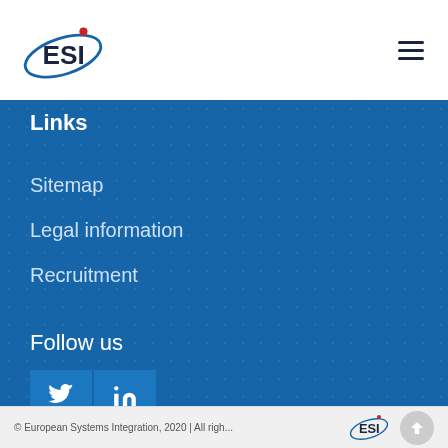[Figure (logo): ESI logo with oval swoosh and red dot]
Links
Sitemap
Legal information
Recruitment
Follow us
[Figure (infographic): Twitter and LinkedIn social media icon buttons]
© European Systems Integration, 2020 | All righ...